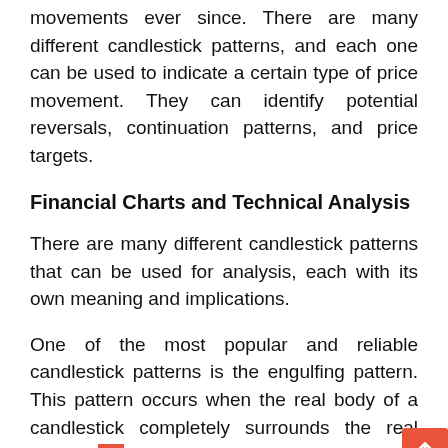movements ever since. There are many different candlestick patterns, and each one can be used to indicate a certain type of price movement. They can identify potential reversals, continuation patterns, and price targets.
Financial Charts and Technical Analysis
There are many different candlestick patterns that can be used for analysis, each with its own meaning and implications.
One of the most popular and reliable candlestick patterns is the engulfing pattern. This pattern occurs when the real body of a candlestick completely surrounds the real body of the previous candlestick.